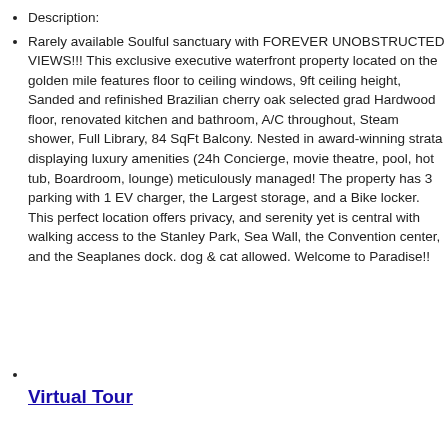Description:
Rarely available Soulful sanctuary with FOREVER UNOBSTRUCTED VIEWS!!! This exclusive executive waterfront property located on the golden mile features floor to ceiling windows, 9ft ceiling height, Sanded and refinished Brazilian cherry oak selected grad Hardwood floor, renovated kitchen and bathroom, A/C throughout, Steam shower, Full Library, 84 SqFt Balcony. Nested in award-winning strata displaying luxury amenities (24h Concierge, movie theatre, pool, hot tub, Boardroom, lounge) meticulously managed! The property has 3 parking with 1 EV charger, the Largest storage, and a Bike locker. This perfect location offers privacy, and serenity yet is central with walking access to the Stanley Park, Sea Wall, the Convention center, and the Seaplanes dock. dog & cat allowed. Welcome to Paradise!!
Virtual Tour